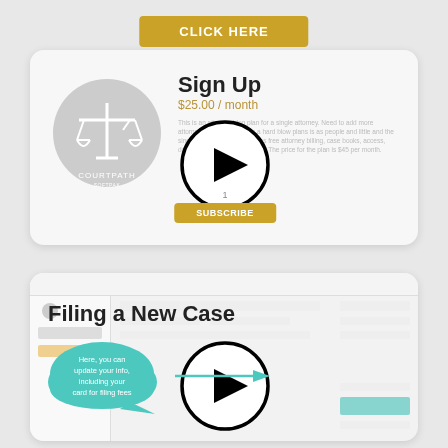[Figure (screenshot): Gold/amber colored button at top center with text 'CLICK HERE']
[Figure (screenshot): Card showing CourtPath logo (scales of justice), Sign Up heading, $25.00/month price, description text, play button overlay, and Subscribe button]
Sign Up
$25.00 / month
[Figure (screenshot): Card showing Filing a New Case heading, screenshot of filing interface with form fields, play button overlay, teal cloud bubble with text 'Here, you can update your info, including your card for filing fees', and arrow pointing right]
Filing a New Case
Here, you can update your info, including your card for filing fees